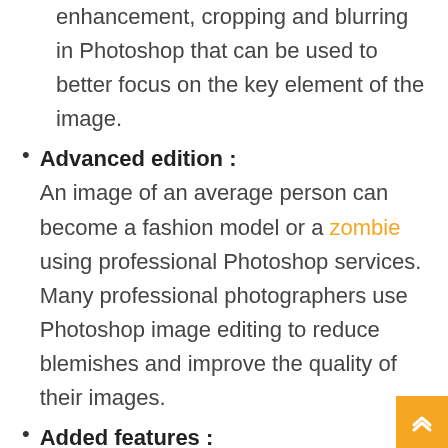enhancement, cropping and blurring in Photoshop that can be used to better focus on the key element of the image.
Advanced edition : An image of an average person can become a fashion model or a zombie using professional Photoshop services. Many professional photographers use Photoshop image editing to reduce blemishes and improve the quality of their images.
Added features : Adobe Photoshop CC Crack delivers